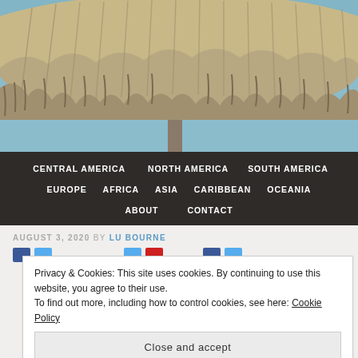[Figure (photo): Photo of a thatched straw beach umbrella against a blue sky, viewed from below showing the fringe and pole]
CENTRAL AMERICA
NORTH AMERICA
SOUTH AMERICA
EUROPE
AFRICA
ASIA
CARIBBEAN
OCEANIA
ABOUT
CONTACT
AUGUST 3, 2020 BY LU BOURNE
Privacy & Cookies: This site uses cookies. By continuing to use this website, you agree to their use.
To find out more, including how to control cookies, see here: Cookie Policy
Close and accept
Advertisements